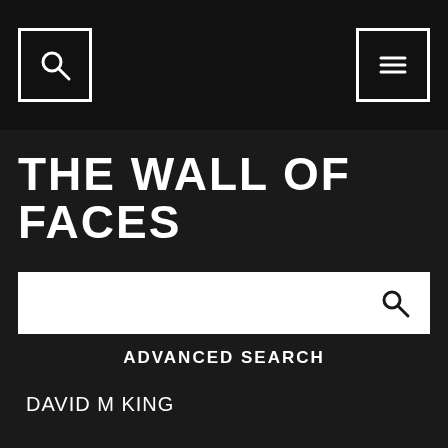[Figure (screenshot): Header bar with search icon (magnifying glass in square) on left and hamburger menu icon (three lines in square) on right, on dark background]
THE WALL OF FACES
[Figure (other): White search input bar with magnifying glass icon on the right]
ADVANCED SEARCH
DAVID M KING